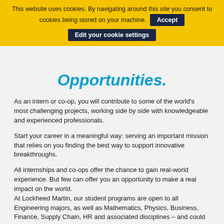This website uses cookies. By navigating around this site you consent to cookies being stored on your machine. Accept Edit your cookie settings
Opportunities.
As an intern or co-op, you will contribute to some of the world's most challenging projects, working side by side with knowledgeable and experienced professionals.
Start your career in a meaningful way: serving an important mission that relies on you finding the best way to support innovative breakthroughs.
All internships and co-ops offer the chance to gain real-world experience. But few can offer you an opportunity to make a real impact on the world. At Lockheed Martin, our student programs are open to all Engineering majors, as well as Mathematics, Physics, Business, Finance, Supply Chain, HR and associated disciplines – and could be the perfect way for you to catapult your career into the future of technology and creativity.